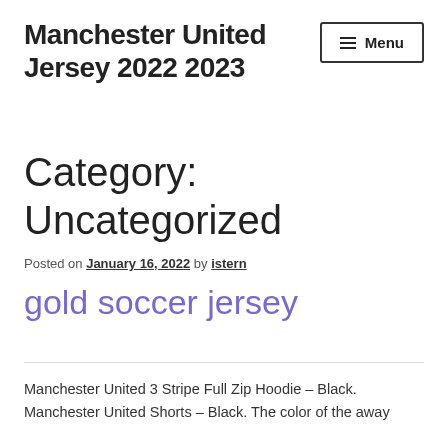Manchester United Jersey 2022 2023
Category: Uncategorized
Posted on January 16, 2022 by istern
gold soccer jersey
Manchester United 3 Stripe Full Zip Hoodie – Black. Manchester United Shorts – Black. The color of the away kit is in the team's away color which is the color that is